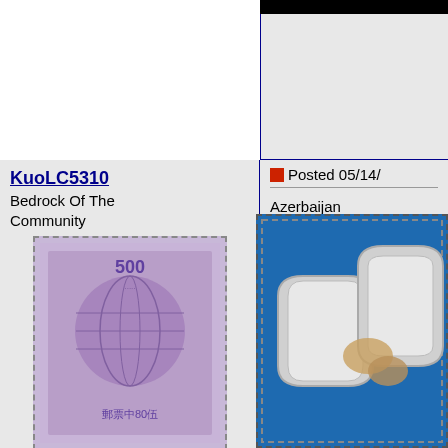KuoLC5310
Bedrock Of The Community
[Figure (illustration): A purple/violet postage stamp showing a globe with '500' denomination and Chinese characters, with dashed perforated border]
United States
20034 Posts
Posted 05/14/
Azerbaijan
25th Anniversa...
September 20,
One of the des...
pipelines.
[Figure (illustration): A blue stamp showing interlocking chain links or pipeline connectors with hands shaking, on blue background with dashed border]